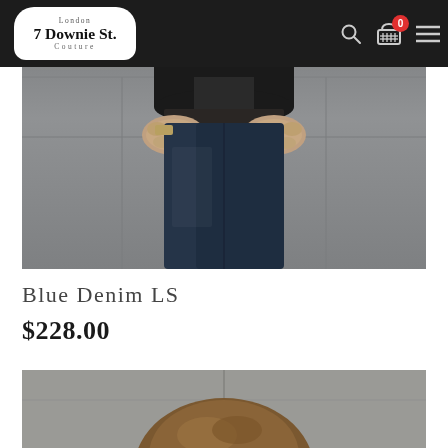[Figure (logo): 7 Downie St. London Couture logo in white rounded rectangle on dark header bar]
[Figure (photo): Man wearing dark jacket and blue denim jeans standing against concrete wall, shot from chest to knees, hands resting near pockets]
Blue Denim LS
$228.00
[Figure (photo): Partial image of a person (top of head with brown hair) against concrete/stone wall background]